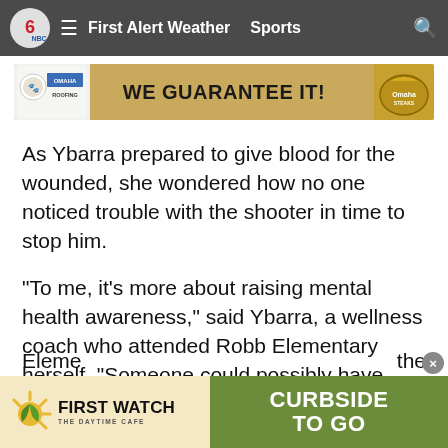First Alert Weather  Sports
[Figure (screenshot): Advertisement banner: Omaha Roofing 'WE GUARANTEE IT!' with company logos on left and right]
As Ybarra prepared to give blood for the wounded, she wondered how no one noticed trouble with the shooter in time to stop him.
“To me, it’s more about raising mental health awareness,” said Ybarra, a wellness coach who attended Robb Elementary herself. “Someone could possibly have seen a dramatic change before something like this happened.”
Even for the survivors, there was grief.
Lorena Auguste was substitute teaching at Uvalde High School when she heard about the shooting. She began frantically... Eleme... the
[Figure (screenshot): Bottom advertisement: First Watch The Daytime Cafe on left with sun logo, Curbside To Go on green right side]